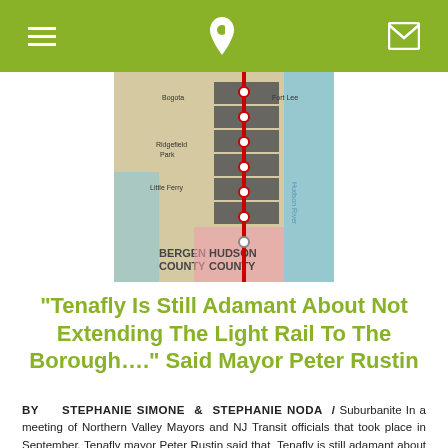☰  📞  ✉
[Figure (map): Map showing Bergen County and Hudson County areas in New Jersey with a red rail line running north-south through multiple municipalities, with the Hudson River visible on the right side.]
“Tenafly Is Still Adamant About Not Extending The Light Rail To The Borough….” Said Mayor Peter Rustin
BY STEPHANIE SIMONE & STEPHANIE NODA / Suburbanite In a meeting of Northern Valley Mayors and NJ Transit officials that took place in September, Tenafly mayor Peter Rustin said that Tenafly is still adamant about not